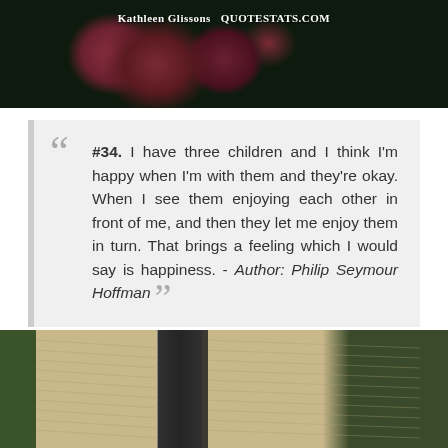[Figure (photo): Dark background photo showing a pink/red flower (hibiscus) with dark green foliage. Watermark text reads: Kathleen Glissons QUOTESTATS.COM]
#34. I have three children and I think I'm happy when I'm with them and they're okay. When I see them enjoying each other in front of me, and then they let me enjoy them in turn. That brings a feeling which I would say is happiness. - Author: Philip Seymour Hoffman
[Figure (photo): Photo of a building exterior with white/beige wooden shutters flanking a dark doorway or window opening, with green foliage visible on the left side.]